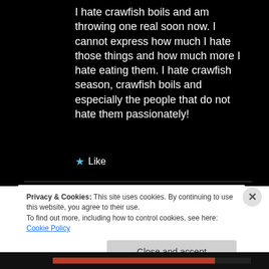I hate crawfish boils and am throwing one real soon now. I cannot express how much I hate those things and how much more I hate eating them. I hate crawfish season, crawfish boils and especially the people that do not hate them passionately!
★ Like
Privacy & Cookies: This site uses cookies. By continuing to use this website, you agree to their use.
To find out more, including how to control cookies, see here: Cookie Policy